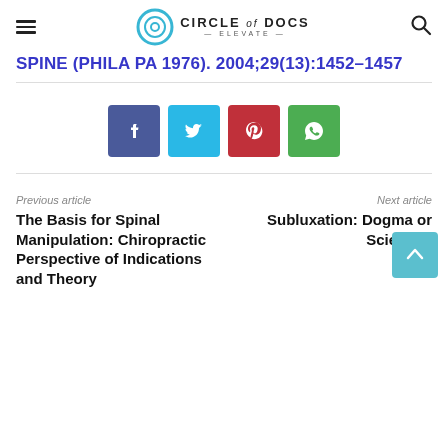Circle of Docs - Elevate
SPINE (PHILA PA 1976). 2004;29(13):1452–1457
[Figure (other): Social share buttons: Facebook (blue), Twitter (cyan), Pinterest (red), WhatsApp (green)]
Previous article
The Basis for Spinal Manipulation: Chiropractic Perspective of Indications and Theory
Next article
Subluxation: Dogma or Science?